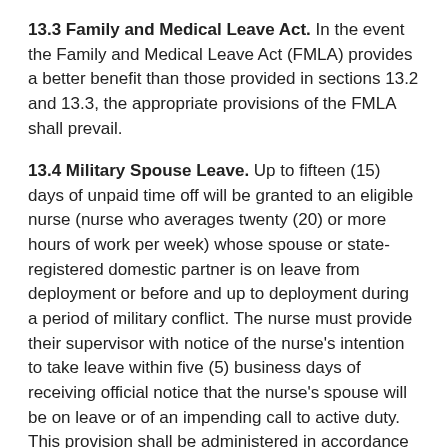13.3 Family and Medical Leave Act. In the event the Family and Medical Leave Act (FMLA) provides a better benefit than those provided in sections 13.2 and 13.3, the appropriate provisions of the FMLA shall prevail.
13.4 Military Spouse Leave. Up to fifteen (15) days of unpaid time off will be granted to an eligible nurse (nurse who averages twenty (20) or more hours of work per week) whose spouse or state-registered domestic partner is on leave from deployment or before and up to deployment during a period of military conflict. The nurse must provide their supervisor with notice of the nurse's intention to take leave within five (5) business days of receiving official notice that the nurse's spouse will be on leave or of an impending call to active duty. This provision shall be administered in accordance with RCW 49.77.
13.5 Military Leave With Pay.